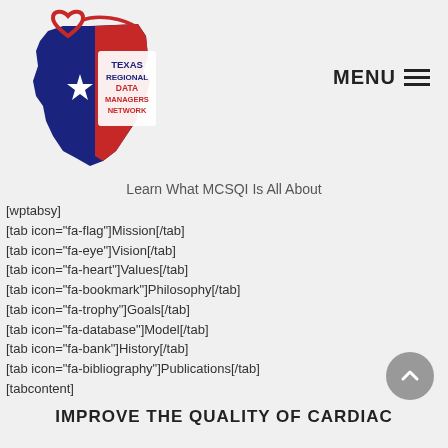[Figure (logo): Texas Regional Data Managers Network logo — Texas state shape in red and blue with a white star, red heart outline, and text 'TEXAS REGIONAL DATA MANAGERS NETWORK']
MENU ≡
Learn What MCSQI Is All About
[wptabsy]
[tab icon="fa-flag"]Mission[/tab]
[tab icon="fa-eye"]Vision[/tab]
[tab icon="fa-heart"]Values[/tab]
[tab icon="fa-bookmark"]Philosophy[/tab]
[tab icon="fa-trophy"]Goals[/tab]
[tab icon="fa-database"]Model[/tab]
[tab icon="fa-bank"]History[/tab]
[tab icon="fa-bibliography"]Publications[/tab]
[tabcontent]
IMPROVE THE QUALITY OF CARDIAC